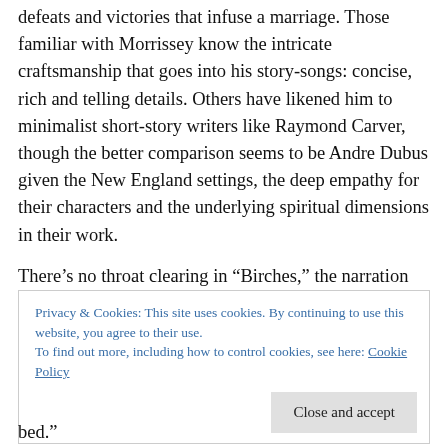defeats and victories that infuse a marriage. Those familiar with Morrissey know the intricate craftsmanship that goes into his story-songs: concise, rich and telling details. Others have likened him to minimalist short-story writers like Raymond Carver, though the better comparison seems to be Andre Dubus given the New England settings, the deep empathy for their characters and the underlying spiritual dimensions in their work.
There's no throat clearing in “Birches,” the narration drops us right into the middle of a marriage:
Privacy & Cookies: This site uses cookies. By continuing to use this website, you agree to their use.
To find out more, including how to control cookies, see here: Cookie Policy
bed.”